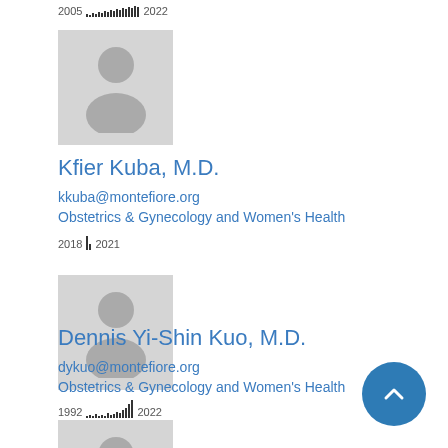[Figure (infographic): Mini publication bar chart for previous doctor, years 2005 to 2022]
[Figure (photo): Placeholder silhouette photo for Kfier Kuba, M.D.]
Kfier Kuba, M.D.
kkuba@montefiore.org
Obstetrics & Gynecology and Women's Health
[Figure (bar-chart): Publication history bar chart 2018 to 2021]
[Figure (photo): Placeholder silhouette photo for Dennis Yi-Shin Kuo, M.D.]
Dennis Yi-Shin Kuo, M.D.
dykuo@montefiore.org
Obstetrics & Gynecology and Women's Health
[Figure (bar-chart): Publication history bar chart 1992 to 2022]
[Figure (photo): Placeholder silhouette photo for third doctor (partially visible)]